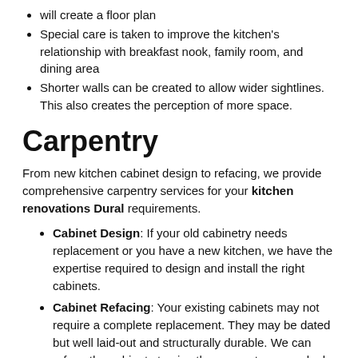will create a floor plan
Special care is taken to improve the kitchen's relationship with breakfast nook, family room, and dining area
Shorter walls can be created to allow wider sightlines. This also creates the perception of more space.
Carpentry
From new kitchen cabinet design to refacing, we provide comprehensive carpentry services for your kitchen renovations Dural requirements.
Cabinet Design: If your old cabinetry needs replacement or you have a new kitchen, we have the expertise required to design and install the right cabinets.
Cabinet Refacing: Your existing cabinets may not require a complete replacement. They may be dated but well laid-out and structurally durable. We can reface the cabinets to give them a custom, new look.